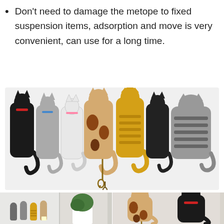Don't need to damage the metope to fixed suspension items, adsorption and move is very convenient, can use for a long time.
[Figure (photo): Seven cat-shaped wall hooks displayed side by side showing backs of cats (black, gray, white, calico, orange tabby, black, gray tabby) with keys hanging from one hook]
[Figure (photo): Two product photos side by side: left shows cat-shaped magnetic hooks on a refrigerator with a plant; right shows calico and black cat-shaped hooks on a wall holding keys]